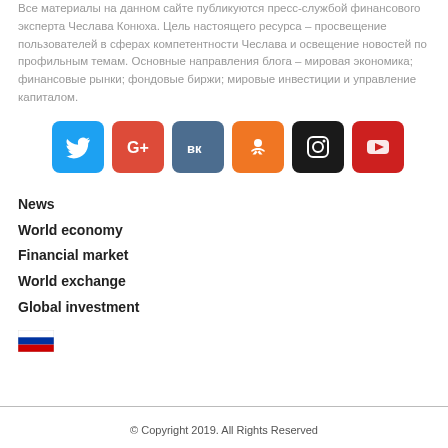Все материалы на данном сайте публикуются пресс-службой финансового эксперта Чеслава Конюха. Цель настоящего ресурса – просвещение пользователей в сферах компетентности Чеслава и освещение новостей по профильным темам. Основные направления блога – мировая экономика; финансовые рынки; фондовые биржи; мировые инвестиции и управление капиталом.
[Figure (infographic): Social media icons row: Twitter, Google+, VK, OK, Instagram, YouTube]
News
World economy
Financial market
World exchange
Global investment
[Figure (illustration): Russian flag icon]
© Copyright 2019. All Rights Reserved